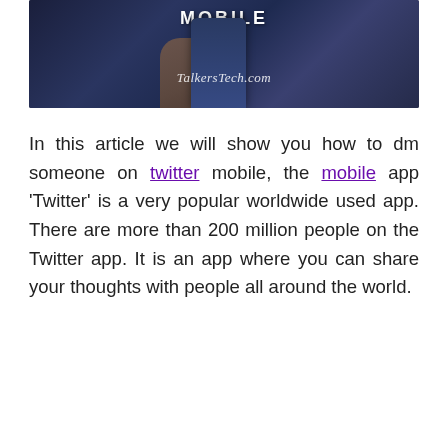[Figure (photo): A hand holding a smartphone showing a Twitter mobile app screen, with 'MOBILE' text at the top and 'TalkersTech.com' watermark overlaid on the image.]
In this article we will show you how to dm someone on twitter mobile, the mobile app ‘Twitter’ is a very popular worldwide used app. There are more than 200 million people on the Twitter app. It is an app where you can share your thoughts with people all around the world.